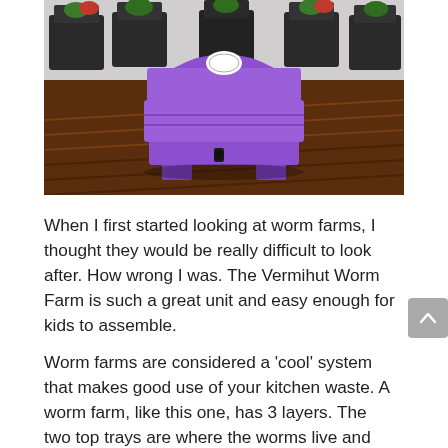[Figure (photo): A purple Vermihut Worm Farm unit sitting on a wooden deck, with black planter boxes containing plants visible on a white wall in the background.]
When I first started looking at worm farms, I thought they would be really difficult to look after. How wrong I was. The Vermihut Worm Farm is such a great unit and easy enough for kids to assemble.
Worm farms are considered a 'cool' system that makes good use of your kitchen waste. A worm farm, like this one, has 3 layers. The two top trays are where the worms live and they can move fresh...